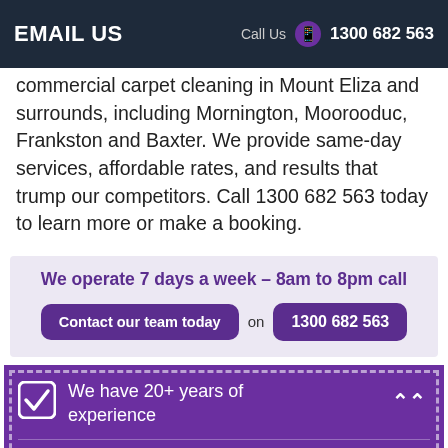EMAIL US  |  Call Us  1300 682 563
commercial carpet cleaning in Mount Eliza and surrounds, including Mornington, Moorooduc, Frankston and Baxter. We provide same-day services, affordable rates, and results that trump our competitors. Call 1300 682 563 today to learn more or make a booking.
We operate 7 days a week – 8am to 8pm call Contact our team today on 1300 682 563
We have 20+ years of experience
We can provide same-day service